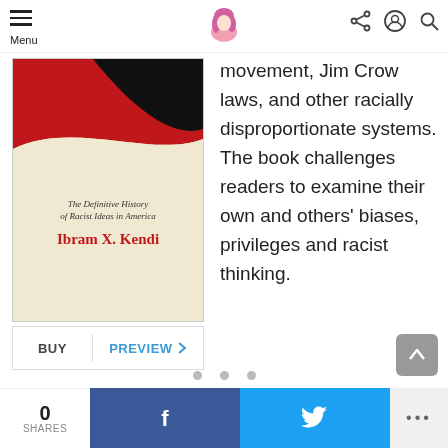Menu
[Figure (photo): Book cover of 'Stamped from the Beginning: The Definitive History of Racist Ideas in America' by Ibram X. Kendi, with red and black imagery and the author name in red text]
BUY   PREVIEW
movement, Jim Crow laws, and other racially disproportionate systems. The book challenges readers to examine their own and others' biases, privileges and racist thinking.
0 SHARES